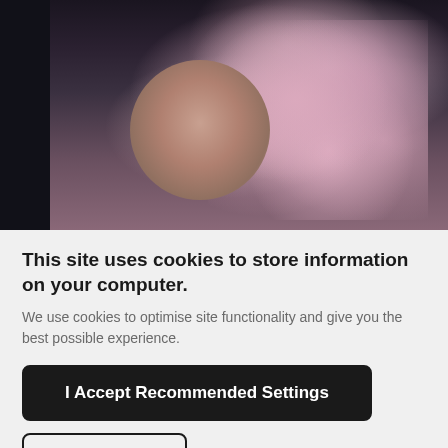[Figure (photo): A person with short gray hair wearing or surrounded by large pink and lavender ruffled fabric, photographed against a dark background]
This site uses cookies to store information on your computer.
We use cookies to optimise site functionality and give you the best possible experience.
I Accept Recommended Settings
I Do Not Accept
Settings